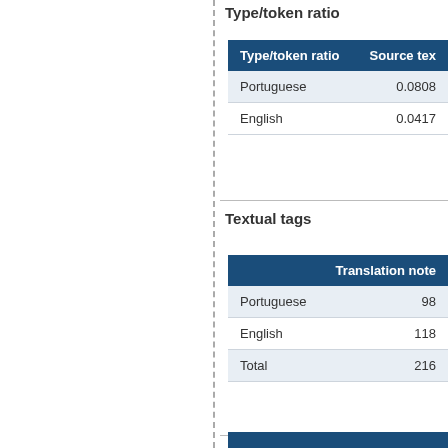Type/token ratio
| Type/token ratio | Source text |
| --- | --- |
| Portuguese | 0.0808 |
| English | 0.0417 |
Textual tags
|  | Translation notes |
| --- | --- |
| Portuguese | 98 |
| English | 118 |
| Total | 216 |